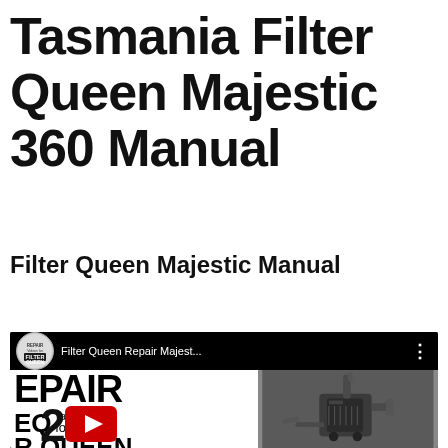Tasmania Filter Queen Majestic 360 Manual
Filter Queen Majestic Manual
[Figure (screenshot): YouTube video thumbnail for 'Filter Queen Repair Majestic...' showing a repair channel icon, video title in top bar, large text EPAIR / EQ for a / R QUEEN / UUM on white background left, a YouTube play button (red/white) overlay, and a photo of a vacuum machine on the right side against dark background.]